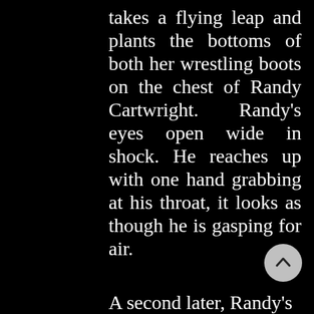takes a flying leap and plants the bottoms of both her wrestling boots on the chest of Randy Cartwright. Randy's eyes open wide in shock. He reaches up with one hand grabbing at his throat, it looks as though he is gasping for air.
A second later, Randy's